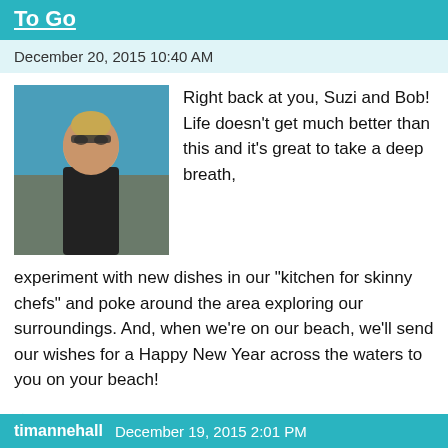To Go
December 20, 2015 10:40 AM
[Figure (photo): Profile photo of a woman wearing sunglasses and a black top, standing outdoors near water]
Right back at you, Suzi and Bob! Life doesn’t get much better than this and it’s great to take a deep breath, experiment with new dishes in our “kitchen for skinny chefs” and poke around the area exploring our surroundings. And, when we’re on our beach, we’ll send our wishes for a Happy New Year across the waters to you on your beach!
Like
Reply
timannehall   December 19, 2015 2:01 PM